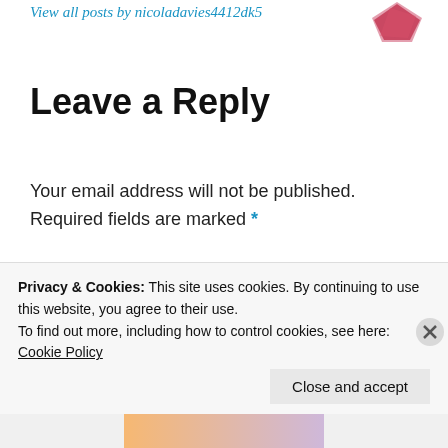View all posts by nicoladavies4412dk5
[Figure (illustration): Pink/red abstract avatar icon in top right corner]
Leave a Reply
Your email address will not be published. Required fields are marked *
Comment *
[Figure (screenshot): Empty comment text area input box]
Privacy & Cookies: This site uses cookies. By continuing to use this website, you agree to their use. To find out more, including how to control cookies, see here: Cookie Policy
Close and accept